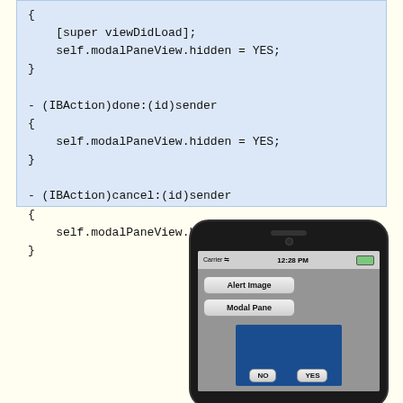{
    [super viewDidLoad];
    self.modalPaneView.hidden = YES;
}

- (IBAction)done:(id)sender
{
    self.modalPaneView.hidden = YES;
}

- (IBAction)cancel:(id)sender
{
    self.modalPaneView.hidden = YES;
}
[Figure (screenshot): iPhone simulator screenshot showing a gray screen with 'Alert Image' and 'Modal Pane' buttons, and a blue modal pane partially visible with NO and YES buttons at bottom. Status bar shows Carrier, 12:28 PM.]